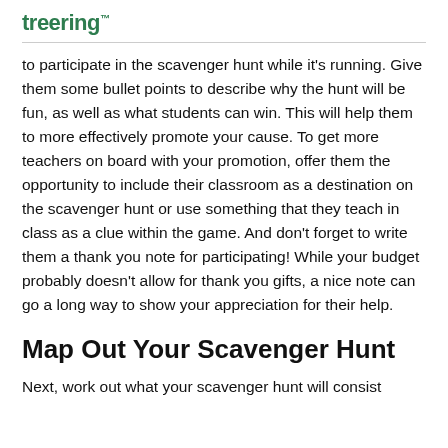treering
to participate in the scavenger hunt while it's running. Give them some bullet points to describe why the hunt will be fun, as well as what students can win. This will help them to more effectively promote your cause. To get more teachers on board with your promotion, offer them the opportunity to include their classroom as a destination on the scavenger hunt or use something that they teach in class as a clue within the game. And don't forget to write them a thank you note for participating! While your budget probably doesn't allow for thank you gifts, a nice note can go a long way to show your appreciation for their help.
Map Out Your Scavenger Hunt
Next, work out what your scavenger hunt will consist